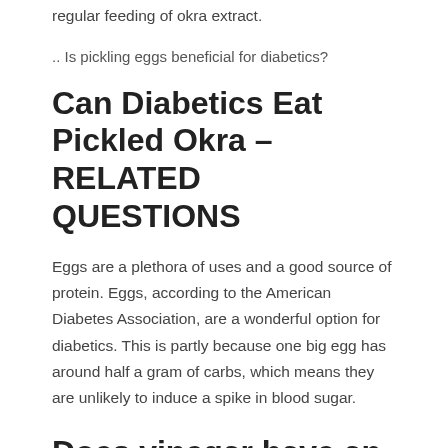regular feeding of okra extract.
.. Is pickling eggs beneficial for diabetics?
Can Diabetics Eat Pickled Okra – RELATED QUESTIONS
Eggs are a plethora of uses and a good source of protein. Eggs, according to the American Diabetes Association, are a wonderful option for diabetics. This is partly because one big egg has around half a gram of carbs, which means they are unlikely to induce a spike in blood sugar.
Does vinegar have an effect on blood sugar levels?
Vinegar was shown to lower postprandial hyperglycemia in this research. This is corroborated by earlier research demonstrating